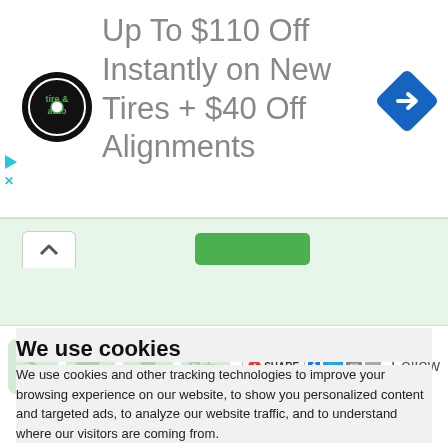[Figure (infographic): Advertisement banner: tire & auto logo on left, text 'Up To $110 Off Instantly on New Tires + $40 Off Alignments' in center, blue diamond navigation arrow icon on right, with small play and close icons on far left edge]
[Figure (screenshot): Light green content area with upward chevron on left, green button in center]
[Figure (infographic): Social media icons row: RSS, Twitter, Facebook, Google+ (faded green), followed by a Share widget with Facebook, Twitter, email and more buttons, then 'Follow' text and '@TorryPages' link below]
We use cookies
We use cookies and other tracking technologies to improve your browsing experience on our website, to show you personalized content and targeted ads, to analyze our website traffic, and to understand where our visitors are coming from.